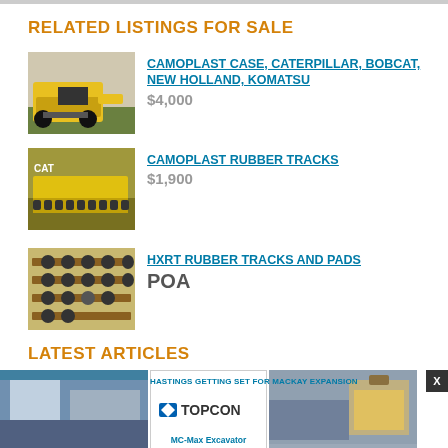RELATED LISTINGS FOR SALE
CAMOPLAST CASE, CATERPILLAR, BOBCAT, NEW HOLLAND, KOMATSU
$4,000
CAMOPLAST RUBBER TRACKS
$1,900
HXRT RUBBER TRACKS AND PADS
POA
LATEST ARTICLES
[Figure (photo): Article image with Topcon logo and MC-Max Excavator text, and a second article image with HASTINGS GETTING SET FOR MACKAY EXPANSION headline]
HASTINGS GETTING SET FOR MACKAY EXPANSION
MC-Max Excavator